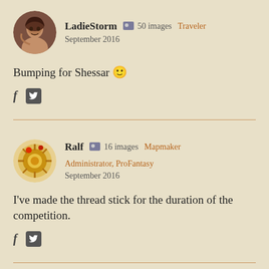LadieStorm  50 images  Traveler
September 2016
Bumping for Shessar 🙂
[Figure (other): Social share icons: Facebook f and Twitter bird]
Ralf  16 images  Mapmaker  Administrator, ProFantasy
September 2016
I've made the thread stick for the duration of the competition.
[Figure (other): Social share icons: Facebook f and Twitter bird]